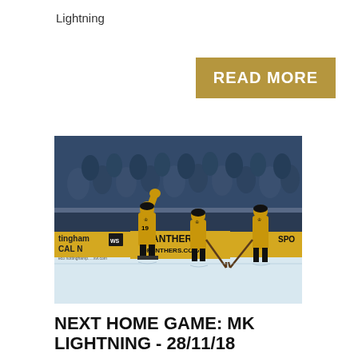Lightning
READ MORE
[Figure (photo): Ice hockey players in gold/black Nottingham Panthers jerseys celebrating on ice, with crowd in background. Rinkside advertising boards show 'PANTHERS @PANTHERS.CO.U' and 'CAL NEWS'. Player #19 raises arm in celebration.]
NEXT HOME GAME: MK LIGHTNING - 28/11/18
Mon 19 Nov 2018 - 11:31AM